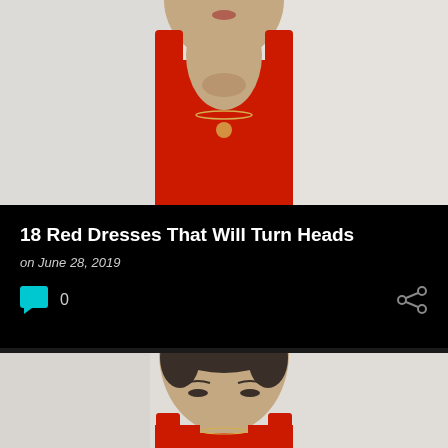[Figure (photo): Woman wearing a red sleeveless dress with ruffle straps, looking downward, white background, gold necklace visible — cropped to upper torso]
18 Red Dresses That Will Turn Heads
on June 28, 2019
0
[Figure (photo): Same woman wearing a red sleeveless dress with ruffle straps, looking downward, white curtain background, gold necklace visible — cropped to face and upper torso]